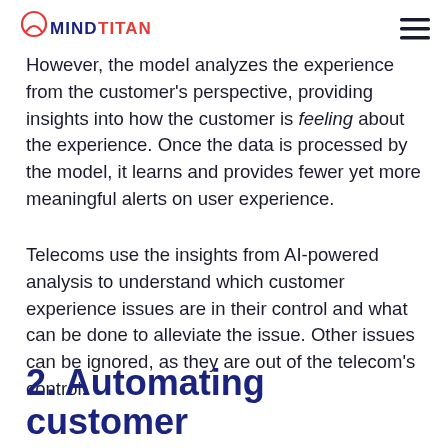MindTitan logo and hamburger menu
However, the model analyzes the experience from the customer's perspective, providing insights into how the customer is feeling about the experience. Once the data is processed by the model, it learns and provides fewer yet more meaningful alerts on user experience.
Telecoms use the insights from AI-powered analysis to understand which customer experience issues are in their control and what can be done to alleviate the issue. Other issues can be ignored, as they are out of the telecom's control.
2. Automating customer